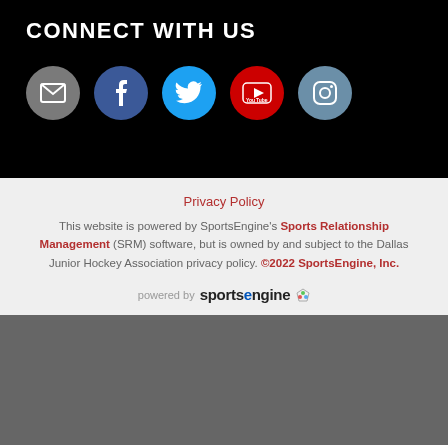CONNECT WITH US
[Figure (infographic): Five social media icon circles: email (gray), Facebook (blue), Twitter (cyan), YouTube (red), Instagram (steel blue)]
Privacy Policy
This website is powered by SportsEngine's Sports Relationship Management (SRM) software, but is owned by and subject to the Dallas Junior Hockey Association privacy policy. ©2022 SportsEngine, Inc.
[Figure (logo): powered by sportsengine logo]